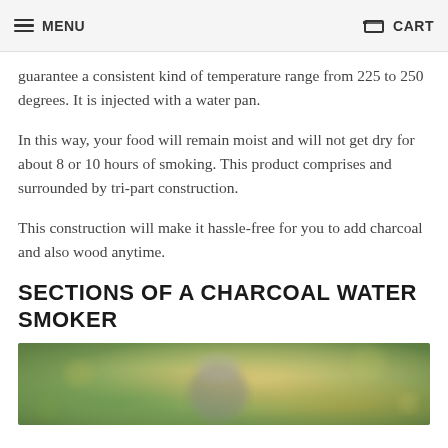MENU   CART
guarantee a consistent kind of temperature range from 225 to 250 degrees. It is injected with a water pan.
In this way, your food will remain moist and will not get dry for about 8 or 10 hours of smoking. This product comprises and surrounded by tri-part construction.
This construction will make it hassle-free for you to add charcoal and also wood anytime.
SECTIONS OF A CHARCOAL WATER SMOKER
[Figure (photo): Photo of a charcoal water smoker outdoors surrounded by greenery and bokeh background]